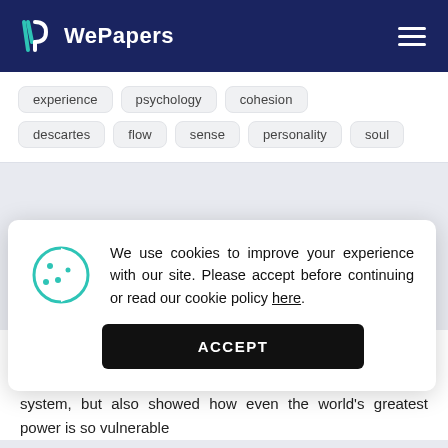WePapers
experience  psychology  cohesion  descartes  flow  sense  personality  soul
We use cookies to improve your experience with our site. Please accept before continuing or read our cookie policy here.
ACCEPT
9/11 is one of the most talked about terrorist acts of the 21st century. It not only pinpointed the flaw in the US security system, but also showed how even the world's greatest power is so vulnerable